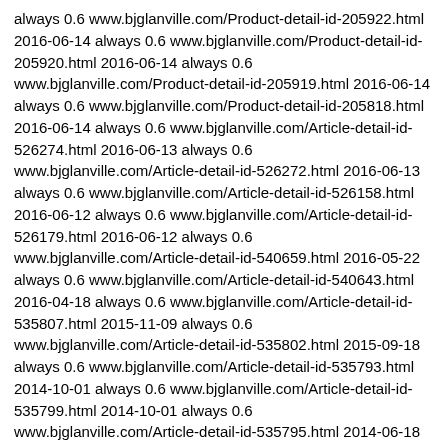always 0.6 www.bjglanville.com/Product-detail-id-205922.html 2016-06-14 always 0.6 www.bjglanville.com/Product-detail-id-205920.html 2016-06-14 always 0.6 www.bjglanville.com/Product-detail-id-205919.html 2016-06-14 always 0.6 www.bjglanville.com/Product-detail-id-205818.html 2016-06-14 always 0.6 www.bjglanville.com/Article-detail-id-526274.html 2016-06-13 always 0.6 www.bjglanville.com/Article-detail-id-526272.html 2016-06-13 always 0.6 www.bjglanville.com/Article-detail-id-526158.html 2016-06-12 always 0.6 www.bjglanville.com/Article-detail-id-526179.html 2016-06-12 always 0.6 www.bjglanville.com/Article-detail-id-540659.html 2016-05-22 always 0.6 www.bjglanville.com/Article-detail-id-540643.html 2016-04-18 always 0.6 www.bjglanville.com/Article-detail-id-535807.html 2015-11-09 always 0.6 www.bjglanville.com/Article-detail-id-535802.html 2015-09-18 always 0.6 www.bjglanville.com/Article-detail-id-535793.html 2014-10-01 always 0.6 www.bjglanville.com/Article-detail-id-535799.html 2014-10-01 always 0.6 www.bjglanville.com/Article-detail-id-535795.html 2014-06-18 always 0.6 www.bjglanville.com/Article-detail-id-535787.html 2014-04-18 always 0.6 www.bjglanville.com/Article-detail-id-535781.html 2013-12-31 always 0.6 www.bjglanville.com/Article-detail-id-535772.html 2013-04-22 always 0.6 www.bjglanville.com/Article-detail-id-535778.html 2012-05-01 always 0.6 ö���Ϛ